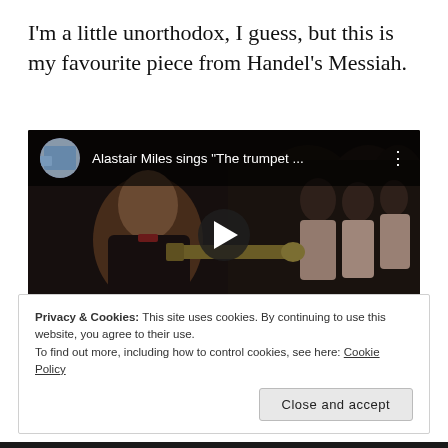I’m a little unorthodox, I guess, but this is my favourite piece from Handel’s Messiah.
[Figure (screenshot): YouTube video thumbnail showing Alastair Miles sings 'The trumpet ...' with a play button overlay. Video shows a man playing a trumpet with choir members in the background.]
Privacy & Cookies: This site uses cookies. By continuing to use this website, you agree to their use.
To find out more, including how to control cookies, see here: Cookie Policy
Close and accept